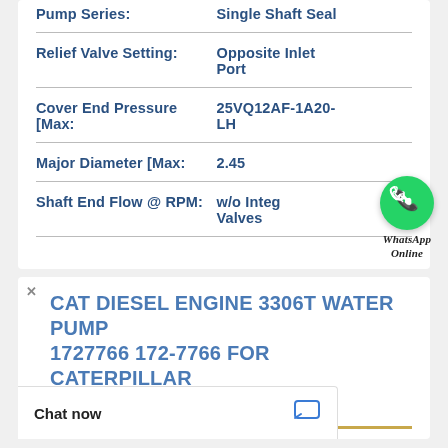| Property | Value |
| --- | --- |
| Pump Series: | Single Shaft Seal |
| Relief Valve Setting: | Opposite Inlet Port |
| Cover End Pressure [Max: | 25VQ12AF-1A20-LH |
| Major Diameter [Max: | 2.45 |
| Shaft End Flow @ RPM: | w/o Integral Valves |
[Figure (illustration): WhatsApp Online button/badge with green circle phone icon and italic text 'WhatsApp Online']
CAT DIESEL ENGINE 3306T WATER PUMP 1727766 172-7766 FOR CATERPILLAR ENGINE PARTS DIMENSIONS
Chat now